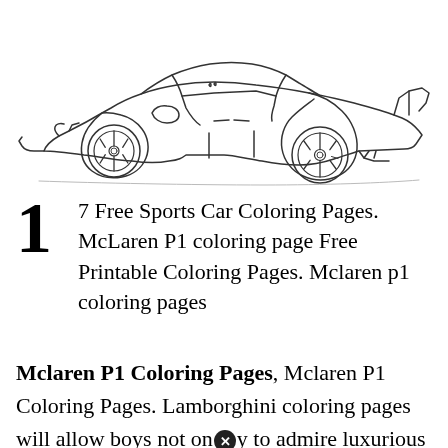[Figure (illustration): Line drawing / coloring page outline of a McLaren P1 supercar in profile view, showing detailed wheel spokes, aerodynamic body lines, and side intakes. Black and white line art on white background.]
1  7 Free Sports Car Coloring Pages. McLaren P1 coloring page Free Printable Coloring Pages. Mclaren p1 coloring pages
Mclaren P1 Coloring Pages, Mclaren P1 Coloring Pages. Lamborghini coloring pages will allow boys not only to admire luxurious